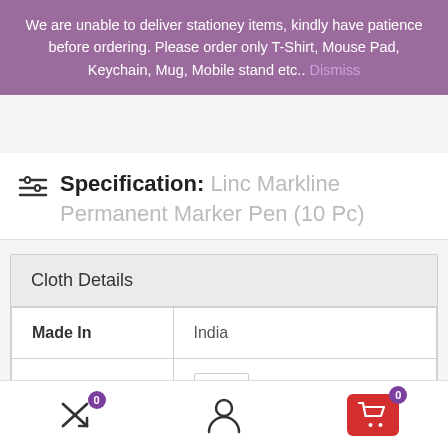We are unable to deliver stationey items, kindly have patience before ordering. Please order only T-Shirt, Mouse Pad, Keychain, Mug, Mobile stand etc.. Dismiss
Specification: Linc Markline Permanent Marker Pen (10 Pc)
| Made In | India |
| Quantity | 10 |